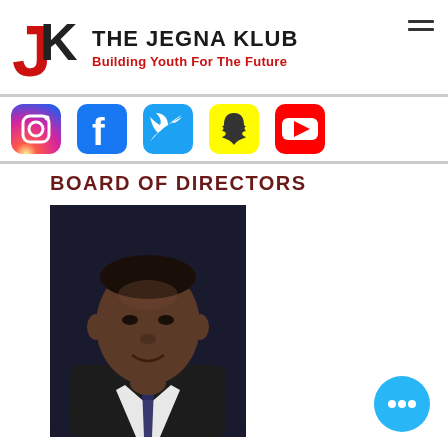[Figure (logo): The Jegna Klub logo with JK letters in red and black, brand name 'THE JEGNA KLUB' and tagline 'Building Youth For The Future' in red, plus hamburger menu icon]
[Figure (infographic): Social media icons row: Instagram (gradient), Facebook (blue), Twitter (blue bird), Snapchat (yellow), YouTube (red)]
BOARD OF DIRECTORS
[Figure (photo): Professional headshot of a man in a dark suit with white dress shirt and tie, against a dark background]